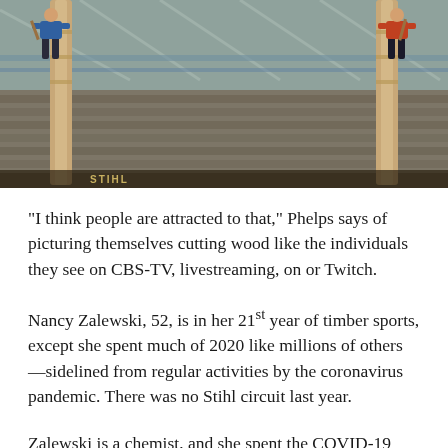[Figure (photo): Two lumberjacks standing on tall wooden poles in a stadium arena, chopping wood with axes, with a massive crowd of spectators in the background and a covered stadium roof structure visible.]
“I think people are attracted to that,” Phelps says of picturing themselves cutting wood like the individuals they see on CBS-TV, livestreaming, on or Twitch.
Nancy Zalewski, 52, is in her 21st year of timber sports, except she spent much of 2020 like millions of others—sidelined from regular activities by the coronavirus pandemic. There was no Stihl circuit last year.
Zalewski is a chemist, and she spent the COVID-19 frenzy